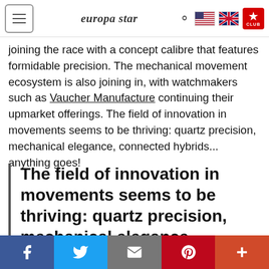europa star — navigation bar with hamburger menu, logo, search, flags, and club badge
joining the race with a concept calibre that features formidable precision. The mechanical movement ecosystem is also joining in, with watchmakers such as Vaucher Manufacture continuing their upmarket offerings. The field of innovation in movements seems to be thriving: quartz precision, mechanical elegance, connected hybrids... anything goes!
The field of innovation in movements seems to be thriving: quartz precision, mechanical elegance, connected hybrids... anything goes!
Social share bar: Facebook, Twitter, Email, Pinterest, More